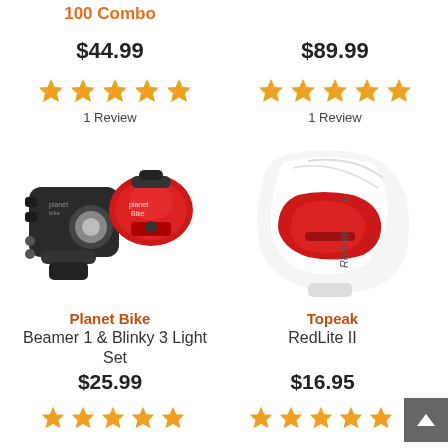100 Combo
$44.99
[Figure (other): 5 orange star rating icons]
1 Review
$89.99
[Figure (other): 5 orange star rating icons]
1 Review
[Figure (photo): Planet Bike Beamer 1 & Blinky 3 Light Set product photo showing black front light and red rear light]
[Figure (photo): Topeak RedLite II product photo showing white and red bike tail light]
Planet Bike
Beamer 1 & Blinky 3 Light Set
Topeak
RedLite II
$25.99
$16.95
[Figure (other): 5 orange star rating icons bottom left]
[Figure (other): 5 orange star rating icons bottom right]